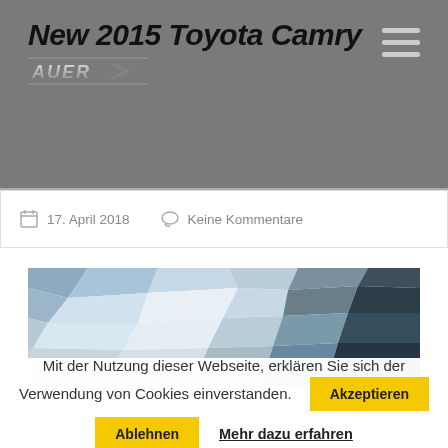New 2015 Toyota Camry / AUER
17. April 2018   Keine Kommentare
[Figure (illustration): Abstract low-poly geometric pattern image in shades of blue, grey, and white, resembling a landscape or sky.]
Mit der Nutzung dieser Webseite, erklären Sie sich der Verwendung von Cookies einverstanden.
Akzeptieren
Ablehnen
Mehr dazu erfahren